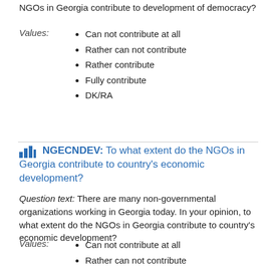NGOs in Georgia contribute to development of democracy?
Values:
Can not contribute at all
Rather can not contribute
Rather contribute
Fully contribute
DK/RA
NGECNDEV: To what extent do the NGOs in Georgia contribute to country's economic development?
Question text: There are many non-governmental organizations working in Georgia today. In your opinion, to what extent do the NGOs in Georgia contribute to country's economic development?
Values:
Can not contribute at all
Rather can not contribute
Rather contribute
Fully contribute
DK/RA
BTCMABT: ...